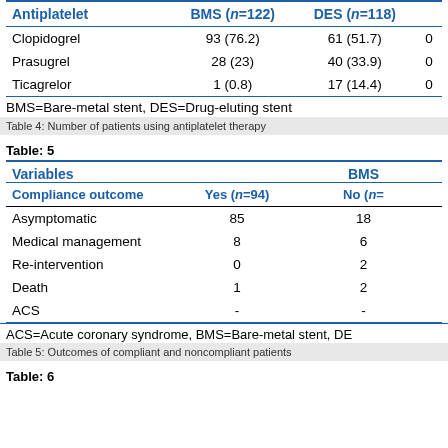| Antiplatelet | BMS (n=122) | DES (n=118) |  |
| --- | --- | --- | --- |
| Clopidogrel | 93 (76.2) | 61 (51.7) | 0 |
| Prasugrel | 28 (23) | 40 (33.9) | 0 |
| Ticagrelor | 1 (0.8) | 17 (14.4) | 0 |
BMS=Bare-metal stent, DES=Drug-eluting stent
Table 4: Number of patients using antiplatelet therapy
Table: 5
| Variables |  | BMS |  |
| --- | --- | --- | --- |
| Compliance outcome | Yes (n=94) | No (n= |  |
| Asymptomatic | 85 | 18 |  |
| Medical management | 8 | 6 |  |
| Re-intervention | 0 | 2 |  |
| Death | 1 | 2 |  |
| ACS | - | - |  |
ACS=Acute coronary syndrome, BMS=Bare-metal stent, DE
Table 5: Outcomes of compliant and noncompliant patients
Table: 6